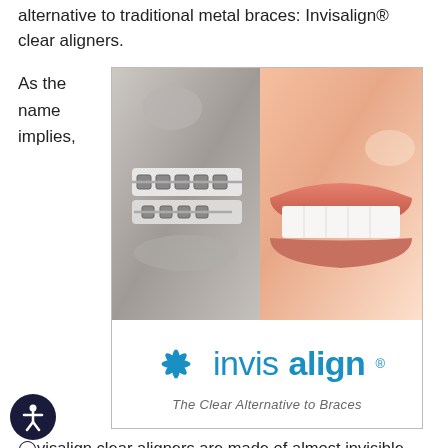alternative to traditional metal braces: Invisalign® clear aligners.
As the name implies,
[Figure (photo): Split image showing left half with metal dental braces in grayscale and right half showing a smiling person with clear/invisible teeth, featuring the Invisalign logo and tagline 'The Clear Alternative to Braces' at the bottom of the image.]
visalign clear aligners are made of almost invisible plastic thermoplastic. Rather than being cemented to